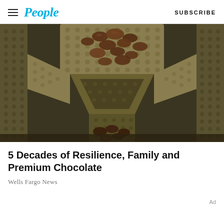People | SUBSCRIBE
[Figure (photo): Overhead view of chocolate discs/chips falling through metallic industrial sorting/weighing machine with perforated stainless steel surfaces]
5 Decades of Resilience, Family and Premium Chocolate
Wells Fargo News
Ad